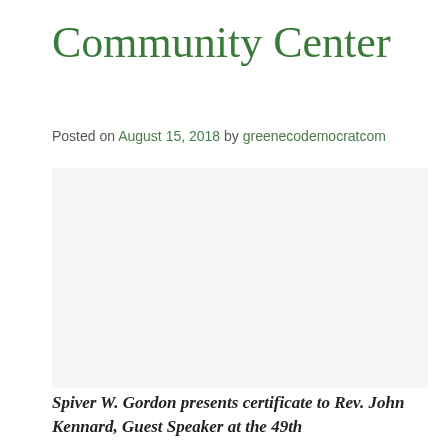Community Center
Posted on August 15, 2018 by greenecodemocratcom
[Figure (photo): Photo area placeholder — image of Spiver W. Gordon presenting certificate to Rev. John Kennard]
Spiver W. Gordon presents certificate to Rev. John Kennard, Guest Speaker at the 49th